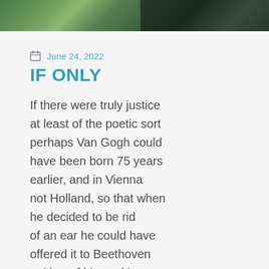[Figure (photo): Cropped top portion of a painting or photograph showing dark green foliage and trees, split into two panels.]
June 24, 2022
IF ONLY
If there were truly justice at least of the poetic sort perhaps Van Gogh could have been born 75 years earlier, and in Vienna not Holland, so that when he decided to be rid of an ear he could have offered it to Beethoven neither of his working in his later years. And